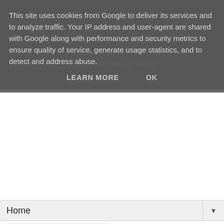This site uses cookies from Google to deliver its services and to analyze traffic. Your IP address and user-agent are shared with Google along with performance and security metrics to ensure quality of service, generate usage statistics, and to detect and address abuse.
LEARN MORE   OK
Home
Wednesday, 23 August 2017
My "New In" wishlist with Yours Clothing
Why can't my bank balance be unlimited and the storage space never ending?
It's probably best that neither of things come to fruition any time soon, I most definitely don't have the space for any more clothes (Self, set a reminder to set up a blog sale to make more space for